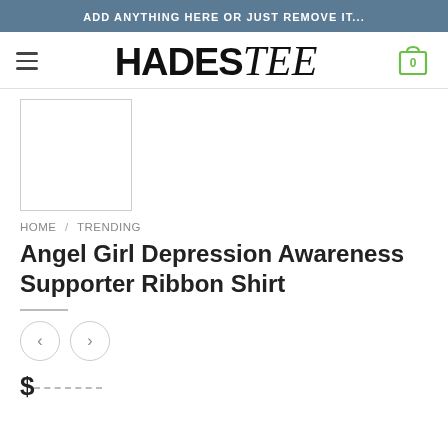ADD ANYTHING HERE OR JUST REMOVE IT...
[Figure (logo): HadesTee logo with bold uppercase HADES and cursive tee, hamburger menu icon on left, shopping cart icon with 0 on right]
[Figure (photo): White product image placeholder box with light gray border]
HOME / TRENDING
Angel Girl Depression Awareness Supporter Ribbon Shirt
$ navigation arrows (left < and right >)
$22.00